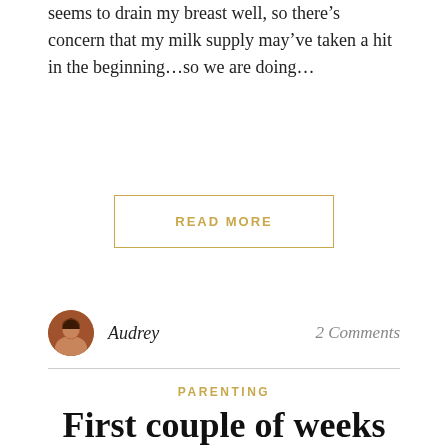seems to drain my breast well, so there’s concern that my milk supply may’ve taken a hit in the beginning…so we are doing…
READ MORE
Audrey
2 Comments
PARENTING
First couple of weeks
July 5, 2013
The first couple of weeks with a 36-weeker are different from a 41-weeker (Natalie). Between Andrew being our second child and him being a pre-term baby, our